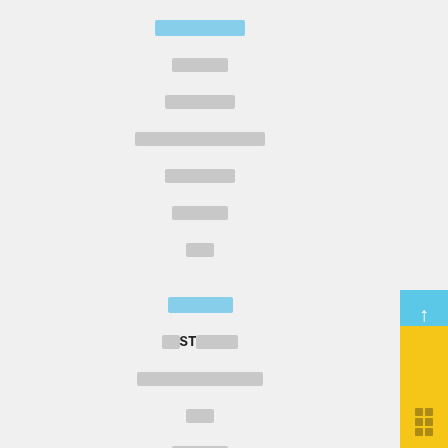████████
████
█████
████████████
█████
████
██
█████
██ST████
███████████
██
█████
██████